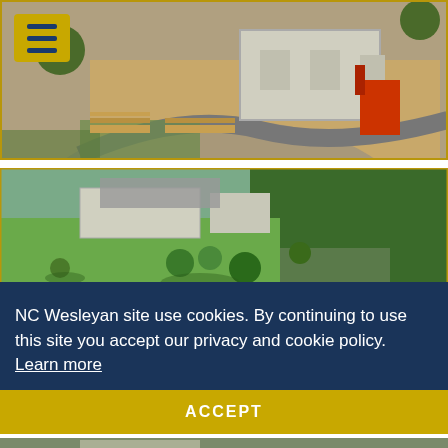[Figure (photo): Aerial view of a construction site with building foundation, dirt, construction equipment including a red crane/forklift, lumber stacks, and paved roads. A yellow menu button overlay is in the top-left corner.]
[Figure (photo): Aerial view of a campus or industrial facility surrounded by green lawns, trees, parking lot, and a road running along the bottom. Buildings visible in the upper portion.]
NC Wesleyan site use cookies. By continuing to use this site you accept our privacy and cookie policy.  Learn more
ACCEPT
[Figure (photo): Partial aerial view of a campus area, partially visible at the bottom of the page.]